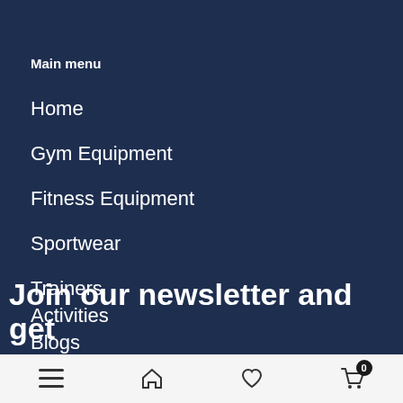Main menu
Home
Gym Equipment
Fitness Equipment
Sportwear
Trainers
Activities
Blogs
Join our newsletter and get
Navigation bar with menu, home, wishlist, and cart (0) icons